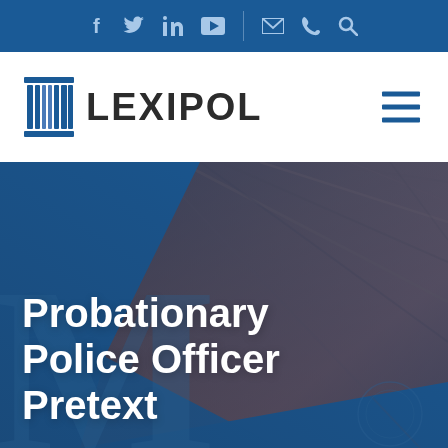f  Twitter  in  YouTube  |  email  phone  search
[Figure (logo): Lexipol logo with column icon and wordmark LEXIPOL, with hamburger menu icon on the right]
[Figure (photo): Hero image showing a close-up of a law book or legal document with blue overlay and wood texture in background, with large white bold text reading 'Probationary Police Officer Pretext']
Probationary Police Officer Pretext